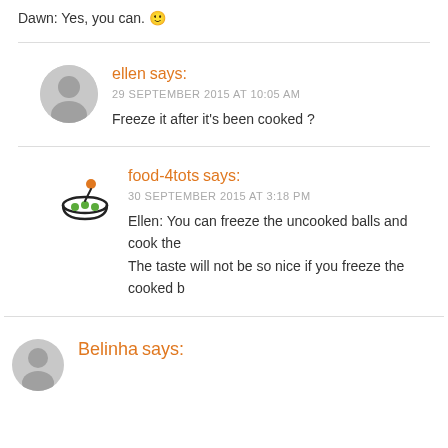Dawn: Yes, you can. 🙂
ellen says:
29 SEPTEMBER 2015 AT 10:05 AM
Freeze it after it's been cooked ?
food-4tots says:
30 SEPTEMBER 2015 AT 3:18 PM
Ellen: You can freeze the uncooked balls and cook the
The taste will not be so nice if you freeze the cooked b
Belinha says: